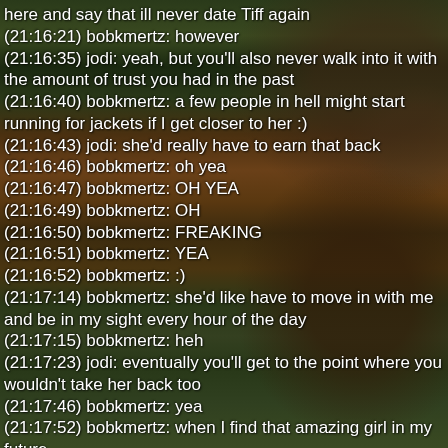[Figure (photo): Background photo of a colorful discus fish (dark body with blue/teal striping pattern) against a green aquatic plant background, with chat text overlaid on top.]
here and say that ill never date Tiff again
(21:16:21) bobkmertz: however
(21:16:35) jodi: yeah, but you'll also never walk into it with the amount of trust you had in the past
(21:16:40) bobkmertz: a few people in hell might start running for jackets if I get closer to her :)
(21:16:43) jodi: she'd really have to earn that back
(21:16:46) bobkmertz: oh yea
(21:16:47) bobkmertz: OH YEA
(21:16:49) bobkmertz: OH
(21:16:50) bobkmertz: FREAKING
(21:16:51) bobkmertz: YEA
(21:16:52) bobkmertz: :)
(21:17:14) bobkmertz: she'd like have to move in with me and be in my sight every hour of the day
(21:17:15) bobkmertz: heh
(21:17:23) jodi: eventually you'll get to the point where you wouldn't take her back too
(21:17:46) bobkmertz: yea
(21:17:52) bobkmertz: when I find that amazing girl in my future
(21:17:56) jodi: you'll have too many good and honest things